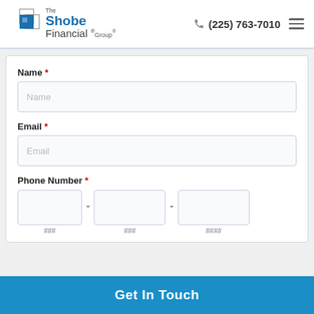[Figure (logo): The Shobe Financial Group logo with overlapping blue squares icon and company name]
(225) 763-7010
Name *
Email *
Phone Number *
### - ### - ####
Get In Touch